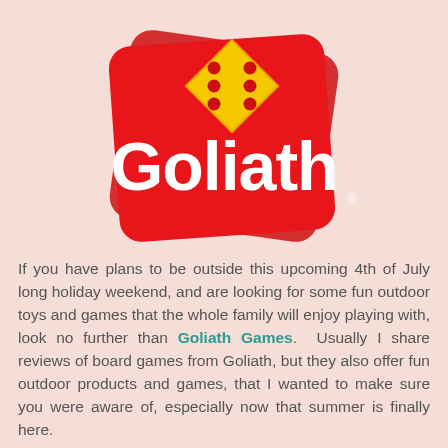[Figure (logo): Goliath Games logo: red rounded rectangle background with white 'Goliath' text and a yellow diamond-shaped die with red dots on top]
If you have plans to be outside this upcoming 4th of July long holiday weekend, and are looking for some fun outdoor toys and games that the whole family will enjoy playing with, look no further than Goliath Games.  Usually I share reviews of board games from Goliath, but they also offer fun outdoor products and games, that I wanted to make sure you were aware of, especially now that summer is finally here.